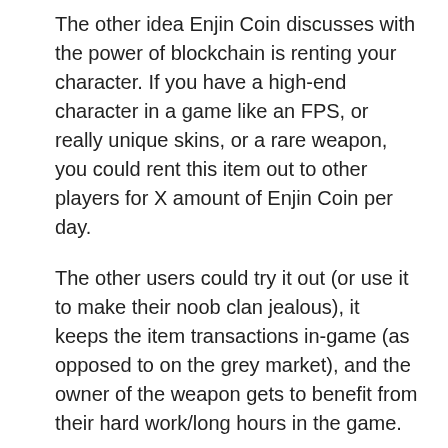The other idea Enjin Coin discusses with the power of blockchain is renting your character. If you have a high-end character in a game like an FPS, or really unique skins, or a rare weapon, you could rent this item out to other players for X amount of Enjin Coin per day.
The other users could try it out (or use it to make their noob clan jealous), it keeps the item transactions in-game (as opposed to on the grey market), and the owner of the weapon gets to benefit from their hard work/long hours in the game.
These are all interesting ideas…But they're largely just ideas.